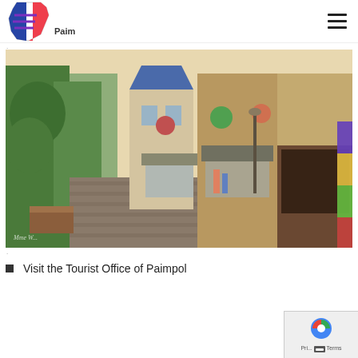Paim[pol] - France Travel Tips logo and navigation
[Figure (photo): Cobblestone street in Paimpol, Brittany, France lined with stone buildings, shops with awnings, hanging flower baskets, and a few pedestrians on a sunny day. Photographer watermark visible in lower left.]
Visit the Tourist Office of Paimpol